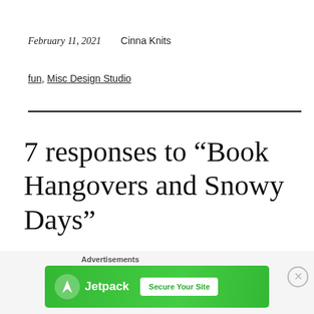February 11, 2021    Cinna Knits
fun, Misc Design Studio
7 responses to “Book Hangovers and Snowy Days”
[Figure (infographic): Jetpack advertisement banner with green background, Jetpack logo and 'Secure Your Site' button. Labeled 'Advertisements' above.]